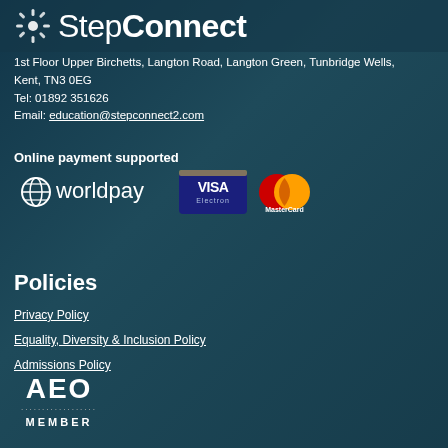[Figure (logo): StepConnect logo with sunburst icon and white text on dark teal background]
1st Floor Upper Birchetts, Langton Road, Langton Green, Tunbridge Wells, Kent, TN3 0EG
Tel: 01892 351626
Email: education@stepconnect2.com
Online payment supported
[Figure (logo): Payment logos: Worldpay, Visa Electron, MasterCard]
Policies
Privacy Policy
Equality, Diversity & Inclusion Policy
Admissions Policy
[Figure (logo): AEO MEMBER badge in white on dark teal background]